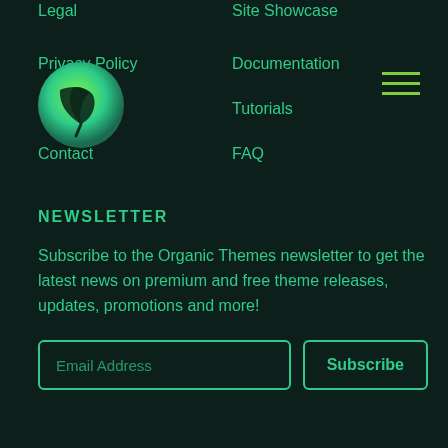Legal
Site Showcase
[Figure (logo): Organic Themes logo: green circle with a leaf/plant icon]
Privacy Policy
Documentation
Cookies
Tutorials
Contact
FAQ
NEWSLETTER
Subscribe to the Organic Themes newsletter to get the latest news on premium and free theme releases, updates, promotions and more!